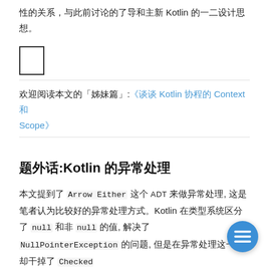性的关系，与此前讨论的了导和主新 Kotlin 的一二设计思想。
[Figure (other): Small square icon box (empty/decorative)]
欢迎阅读本文的「姊妹篇」:《谈谈 Kotlin 协程的 Context 和 Scope》
题外话:Kotlin 的异常处理
本文提到了 Arrow Either 这个 ADT 来做异常处理, 这是笔者认为比较好的异常处理方式。Kotlin 在类型系统区分了 null 和非 null 的值, 解决了 NullPointerException 的问题, 但是在异常处理这一块却干掉了 Checked Exception, 可以说是开了倒车。我们调用一个函数了解其实现很难确定是否会抛出异常。这在客户端使用协程